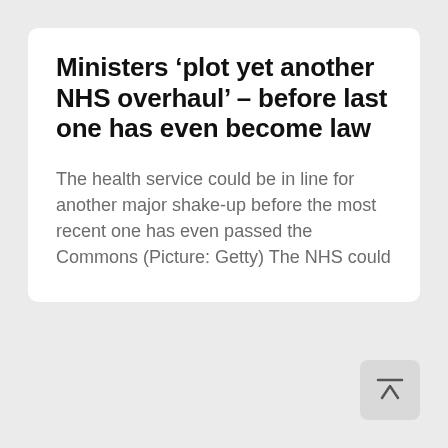Ministers ‘plot yet another NHS overhaul’ – before last one has even become law
The health service could be in line for another major shake-up before the most recent one has even passed the Commons (Picture: Getty) The NHS could
[Figure (other): Scroll-to-top button: a light grey rounded square with an upward-pointing arrow icon and a horizontal line above it]